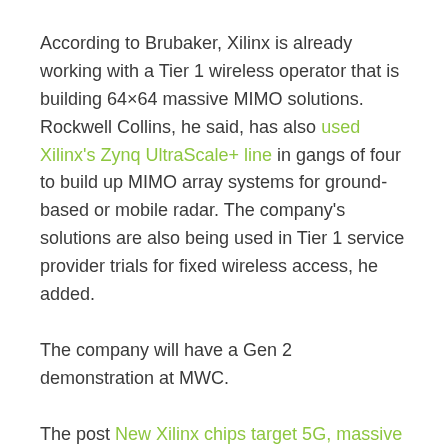According to Brubaker, Xilinx is already working with a Tier 1 wireless operator that is building 64×64 massive MIMO solutions. Rockwell Collins, he said, has also used Xilinx's Zynq UltraScale+ line in gangs of four to build up MIMO array systems for ground-based or mobile radar. The company's solutions are also being used in Tier 1 service provider trials for fixed wireless access, he added.
The company will have a Gen 2 demonstration at MWC.
The post New Xilinx chips target 5G, massive MIMO, DOCSIS appeared first on RCR Wireless News.